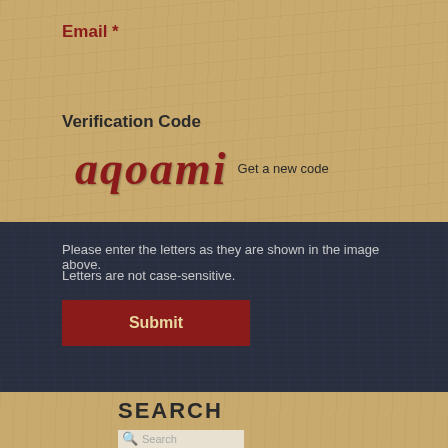Email *
Verification Code
[Figure (other): CAPTCHA image showing the text 'aqoami' in dark red bold italic serif font on a parchment background, followed by a link 'Get a new code']
Please enter the letters as they are shown in the image above.
Letters are not case-sensitive.
Submit
SEARCH
Search